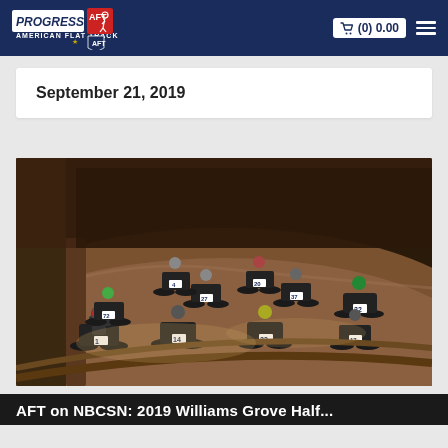Progressive American Flat Track | (0) 0.00
September 21, 2019
[Figure (photo): Group of flat track motorcycle racers on a dirt oval track at night, with numbered bikes visible including #1, #14, #22, #23, #27, #37, #20, #17, #72, #4]
AFT on NBCSN: 2019 Williams Grove Half...